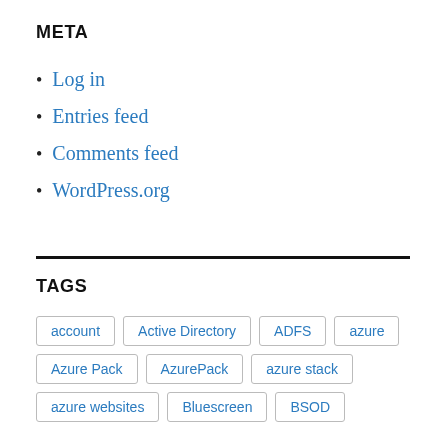META
Log in
Entries feed
Comments feed
WordPress.org
TAGS
account | Active Directory | ADFS | azure | Azure Pack | AzurePack | azure stack | azure websites | Bluescreen | BSOD